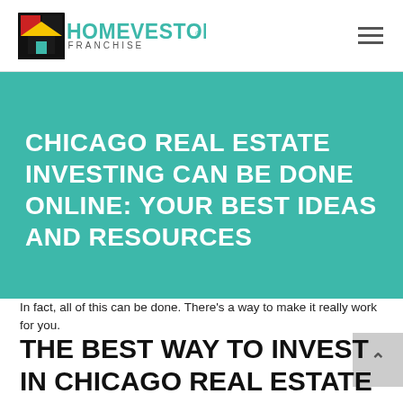HomeVestors Franchise
CHICAGO REAL ESTATE INVESTING CAN BE DONE ONLINE: YOUR BEST IDEAS AND RESOURCES
In fact, all of this can be done. There's a way to make it really work for you.
THE BEST WAY TO INVEST IN CHICAGO REAL ESTATE ONLINE